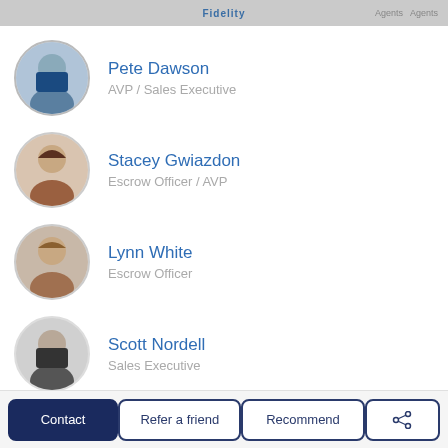Fidelity  Agent  Agents
Pete Dawson – AVP / Sales Executive
Stacey Gwiazdon – Escrow Officer / AVP
Lynn White – Escrow Officer
Scott Nordell – Sales Executive
Nichole Klausner – Escrow Officer
Steffanie Sharp – Escrow Officer
Contact | Refer a friend | Recommend | Share